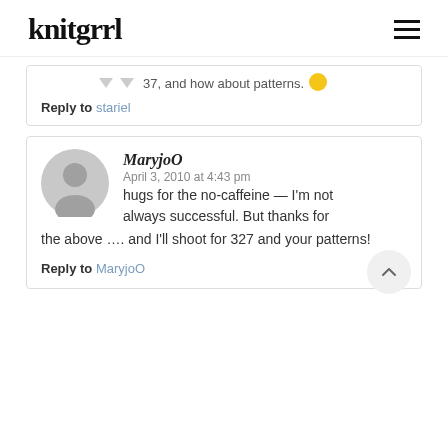knitgrrl
37, and how about patterns. 😊
Reply to stariel
MaryjoO
April 3, 2010 at 4:43 pm
hugs for the no-caffeine — I'm not always successful. But thanks for the above …. and I'll shoot for 327 and your patterns!
Reply to MaryjoO